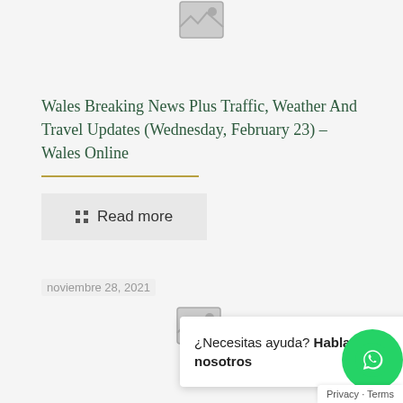[Figure (illustration): Placeholder image icon at top center of page]
Wales Breaking News Plus Traffic, Weather And Travel Updates (Wednesday, February 23) – Wales Online
Read more
noviembre 28, 2021
[Figure (illustration): Placeholder image icon in lower center of page]
¿Necesitas ayuda? Habla con nosotros